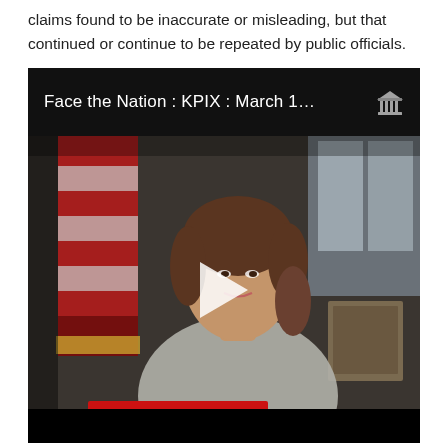claims found to be inaccurate or misleading, but that continued or continue to be repeated by public officials.
[Figure (screenshot): Embedded video player showing 'Face the Nation : KPIX : March 1...' with an archive.org icon in the top right. The video thumbnail shows a woman (Nancy Pelosi) speaking, with an American flag in the background, a 'FACE NATION' lower-third graphic, and a play button overlay in the center.]